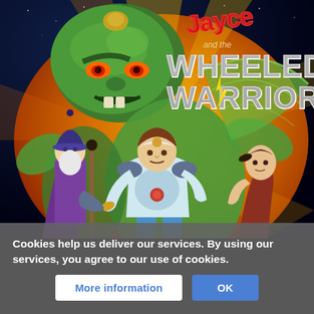[Figure (illustration): Animated cartoon artwork for 'Jayce and the Wheeled Warriors' showing a large green monster villain in the background, a young hero in white and teal armor running in the center, an elderly wizard with a staff on the left, and another character on the right. The logo 'Jayce and the Wheeled Warriors' appears at the top in stylized red and silver lettering on a dramatic yellow/orange explosive background with stars.]
Cookies help us deliver our services. By using our services, you agree to our use of cookies.